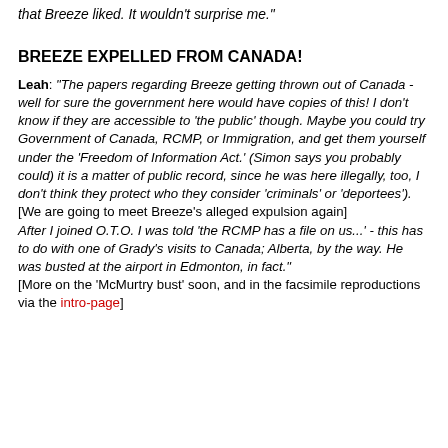that Breeze liked. It wouldn't surprise me."
BREEZE EXPELLED FROM CANADA!
Leah: "The papers regarding Breeze getting thrown out of Canada - well for sure the government here would have copies of this! I don't know if they are accessible to 'the public' though. Maybe you could try Government of Canada, RCMP, or Immigration, and get them yourself under the 'Freedom of Information Act.' (Simon says you probably could) it is a matter of public record, since he was here illegally, too, I don't think they protect who they consider 'criminals' or 'deportees'). [We are going to meet Breeze's alleged expulsion again] After I joined O.T.O. I was told 'the RCMP has a file on us...' - this has to do with one of Grady's visits to Canada; Alberta, by the way. He was busted at the airport in Edmonton, in fact." [More on the 'McMurtry bust' soon, and in the facsimile reproductions via the intro-page]